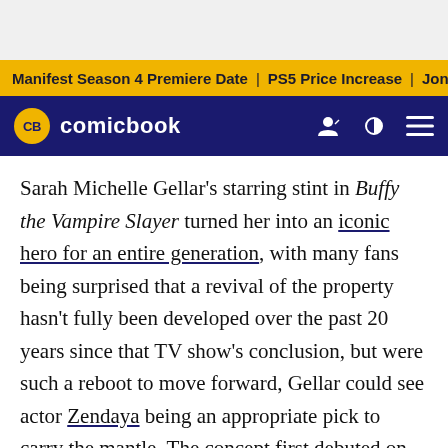Manifest Season 4 Premiere Date | PS5 Price Increase | Jon M
[Figure (logo): ComicBook.com logo with CB yellow circle emblem and navigation icons]
Sarah Michelle Gellar's starring stint in Buffy the Vampire Slayer turned her into an iconic hero for an entire generation, with many fans being surprised that a revival of the property hasn't fully been developed over the past 20 years since that TV show's conclusion, but were such a reboot to move forward, Gellar could see actor Zendaya being an appropriate pick to carry the mantle. The concept first debuted on the big screen in 1992 before being adapted into the 1997 TV series, with reports of a reboot having circled in recent years, yet without much concrete information on when such a revival could move forward.